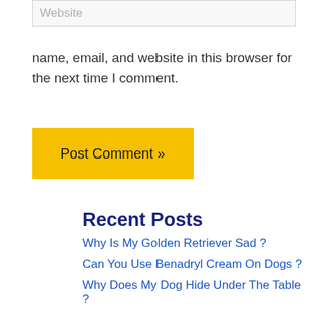Website
name, email, and website in this browser for the next time I comment.
Post Comment »
Recent Posts
Why Is My Golden Retriever Sad ?
Can You Use Benadryl Cream On Dogs ?
Why Does My Dog Hide Under The Table ?
Do Dogs Chew Or Swallow Kibble ?